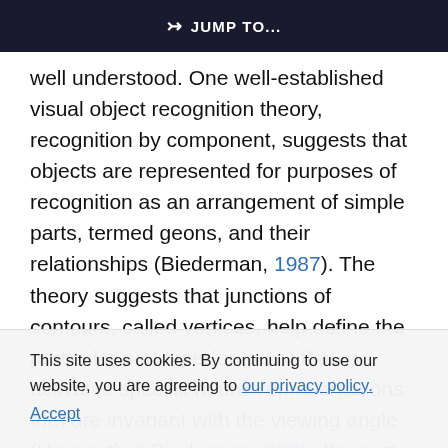JUMP TO...
well understood. One well-established visual object recognition theory, recognition by component, suggests that objects are represented for purposes of recognition as an arrangement of simple parts, termed geons, and their relationships (Biederman, 1987). The theory suggests that junctions of contours, called vertices, help define the particular part type (or geon) that activates specific neural representations that are invariant with the viewing angle (Hayworth & Biederman, 2006; Kayaert, Biederman, & Vogels, 2003). Matched L-vertices that define deep concavities (or overlines) provide strong cues for decomposing multipart objects into their component parts at those points (Bied...
This site uses cookies. By continuing to use our website, you are agreeing to our privacy policy. Accept